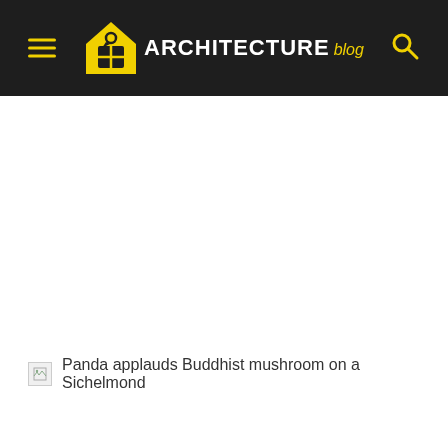ARCHITECTURE blog
[Figure (other): Broken image placeholder thumbnail]
Panda applauds Buddhist mushroom on a Sichelmond